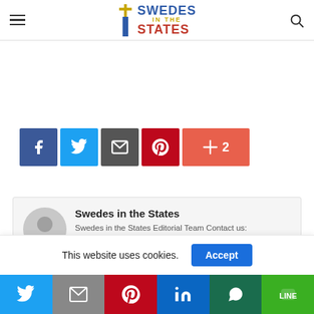Swedes in the States
[Figure (infographic): Social share buttons: Facebook, Twitter, Email, Pinterest, More (+2)]
Swedes in the States
Swedes in the States Editorial Team Contact us: hello@swedesinthestates.com
This website uses cookies.
[Figure (infographic): Bottom social share bar: Twitter, Gmail/Email, Pinterest, LinkedIn, WhatsApp, LINE]